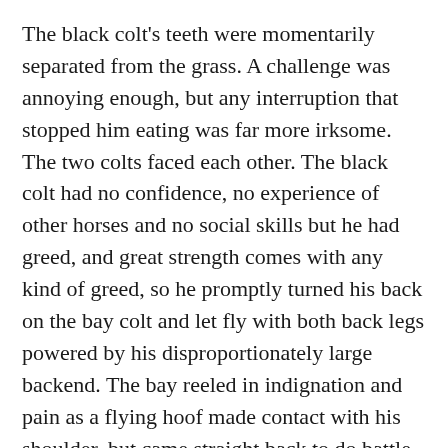The black colt's teeth were momentarily separated from the grass. A challenge was annoying enough, but any interruption that stopped him eating was far more irksome. The two colts faced each other. The black colt had no confidence, no experience of other horses and no social skills but he had greed, and great strength comes with any kind of greed, so he promptly turned his back on the bay colt and let fly with both back legs powered by his disproportionately large backend. The bay reeled in indignation and pain as a flying hoof made contact with his shoulder, but came straight back to do battle. Refusing to be side-tracked, the black colt waved a back leg with threatening intent and flattened his ears flat against his head, and continued eating. The bay had no option but to